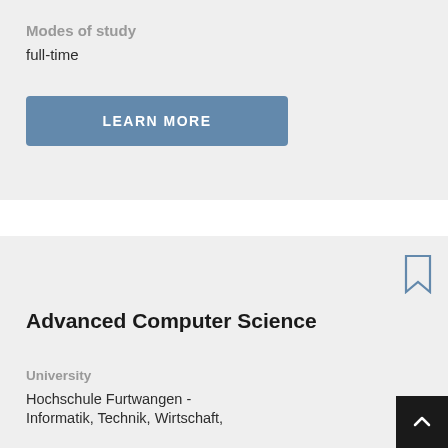Modes of study
full-time
[Figure (other): Blue button labeled LEARN MORE]
[Figure (other): Bookmark icon (outline style)]
Advanced Computer Science
University
Hochschule Furtwangen - Informatik, Technik, Wirtschaft,